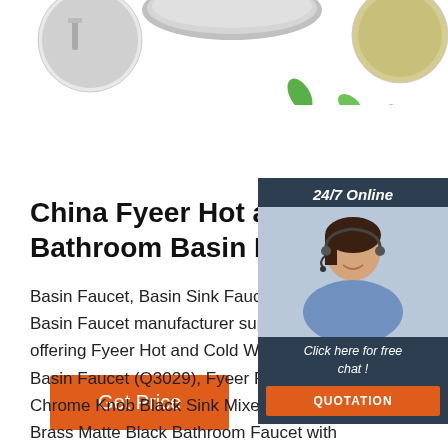[Figure (photo): Top strip with product photos and green leaf decorations on white background]
China Fyeer Hot and Cold Water Bathroom Basin Faucet ...
Basin Faucet, Basin Sink Faucet, Bath Basin Faucet manufacturer supplier in China, offering Fyeer Hot and Cold Water Basin Faucet (Q3029), Fyeer Round Top Chrome Knob Black Sink Mixer Tap, Fyeer Brass Matte Black Bathroom Faucet with Chrome Handle and so on.
[Figure (photo): 24/7 Online sidebar with customer service representative photo and chat/quotation buttons]
[Figure (other): TOP navigation icon in orange/red color]
Get Price